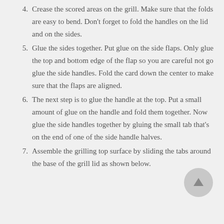4. Crease the scored areas on the grill. Make sure that the folds are easy to bend. Don't forget to fold the handles on the lid and on the sides.
5. Glue the sides together. Put glue on the side flaps. Only glue the top and bottom edge of the flap so you are careful not go glue the side handles. Fold the card down the center to make sure that the flaps are aligned.
6. The next step is to glue the handle at the top. Put a small amount of glue on the handle and fold them together. Now glue the side handles together by gluing the small tab that's on the end of one of the side handle halves.
7. Assemble the grilling top surface by sliding the tabs around the base of the grill lid as shown below.